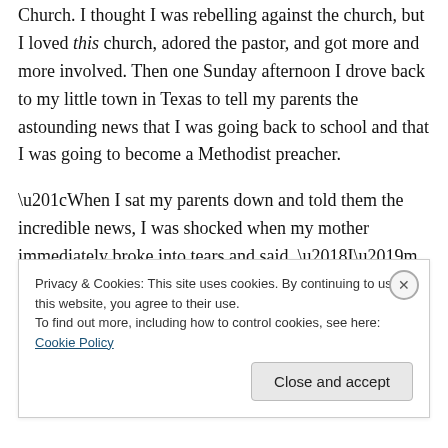and, strangely, I got involved in a nearby United Methodist Church. I thought I was rebelling against the church, but I loved this church, adored the pastor, and got more and more involved. Then one Sunday afternoon I drove back to my little town in Texas to tell my parents the astounding news that I was going back to school and that I was going to become a Methodist preacher.

“When I sat my parents down and told them the incredible news, I was shocked when my mother immediately broke into tears and said, ‘I’m so embarrassed.’ I couldn’t believe it! I thought she would rejoice! But then she said, ‘Do you
Privacy & Cookies: This site uses cookies. By continuing to use this website, you agree to their use.
To find out more, including how to control cookies, see here: Cookie Policy